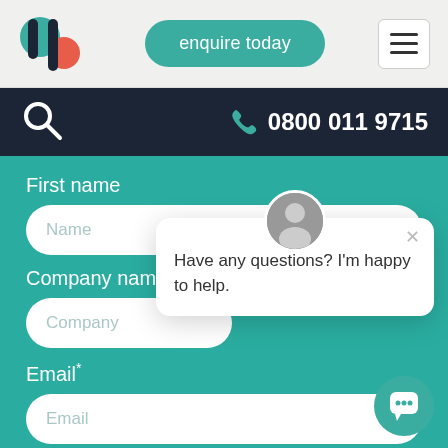[Figure (logo): Stylized H logo with teal and coral/red circles]
enquire today
[Figure (illustration): Hamburger menu icon (three horizontal lines in a box)]
[Figure (illustration): Search icon (magnifying glass)]
0800 011 9715
First name
Name
Company name
Company
Email*
Email
Have any questions? I'm happy to help.